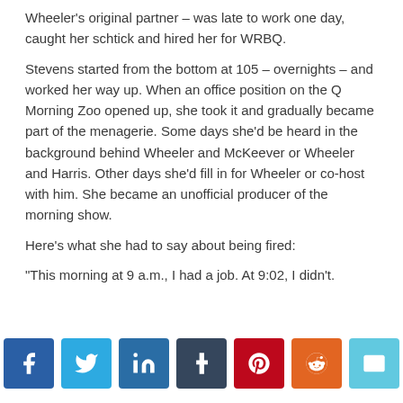Wheeler's original partner – was late to work one day, caught her schtick and hired her for WRBQ.
Stevens started from the bottom at 105 – overnights – and worked her way up. When an office position on the Q Morning Zoo opened up, she took it and gradually became part of the menagerie. Some days she'd be heard in the background behind Wheeler and McKeever or Wheeler and Harris. Other days she'd fill in for Wheeler or co-host with him. She became an unofficial producer of the morning show.
Here's what she had to say about being fired:
“This morning at 9 a.m., I had a job. At 9:02, I didn’t.
[Figure (infographic): Social media sharing buttons: Facebook (blue), Twitter (light blue), LinkedIn (dark blue), Tumblr (dark navy), Pinterest (red), Reddit (orange), Email (cyan)]